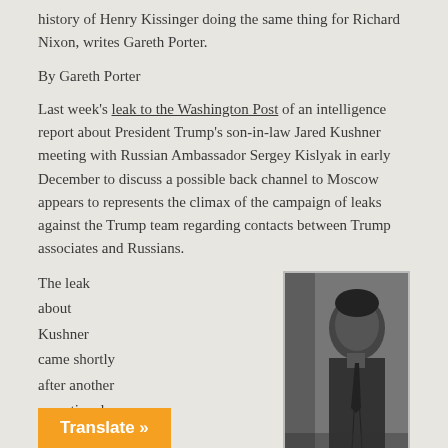history of Henry Kissinger doing the same thing for Richard Nixon, writes Gareth Porter.
By Gareth Porter
Last week's leak to the Washington Post of an intelligence report about President Trump's son-in-law Jared Kushner meeting with Russian Ambassador Sergey Kislyak in early December to discuss a possible back channel to Moscow appears to represents the climax of the campaign of leaks against the Trump team regarding contacts between Trump associates and Russians.
The leak about Kushner came shortly after another sensational story
[Figure (photo): Black and white photograph of two men in suits facing each other in profile — believed to be Richard Nixon and Henry Kissinger]
Translate »